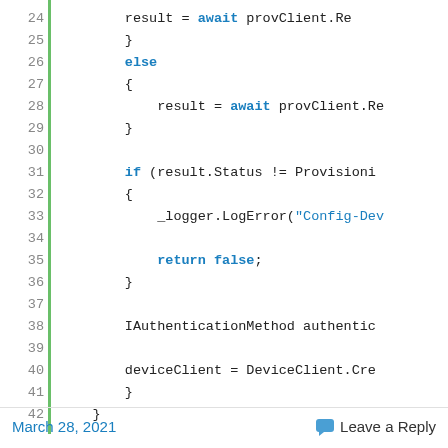[Figure (screenshot): Code snippet showing C# async code lines 24-42 with line numbers, green vertical bar, keywords in blue bold (await, else, if, return false), string literals in blue, and plain code in monospace.]
March 28, 2021    Leave a Reply